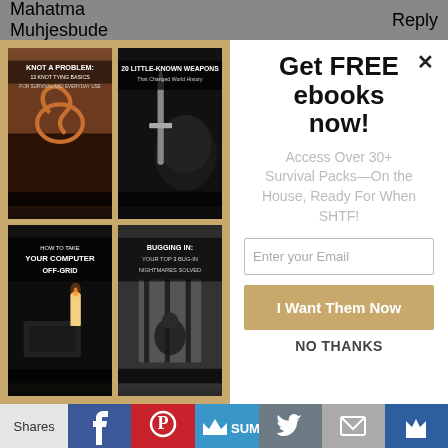Mahatma Muhjesbude
Reply
[Figure (illustration): Modal popup with 4 ebook covers on the left (gold/tan background): 'Knot A Problem: 13 Knot Tying Basics For Survival and Everyday Use', '20 Little-Known Weapons That Changed World History', 'How To Take Your Computer Off-Grid', 'Bugging In: Your Top 3 Bug-In Nightmares Solved']
Get FREE ebooks now!
Access Over 30+ Survival Packs—On the House, Ready For When SHTF!
Enter your Email
I Want Them Now
NO THANKS
Shares